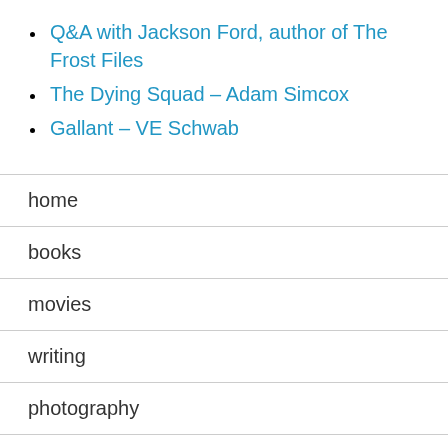Q&A with Jackson Ford, author of The Frost Files
The Dying Squad – Adam Simcox
Gallant – VE Schwab
home
books
movies
writing
photography
about